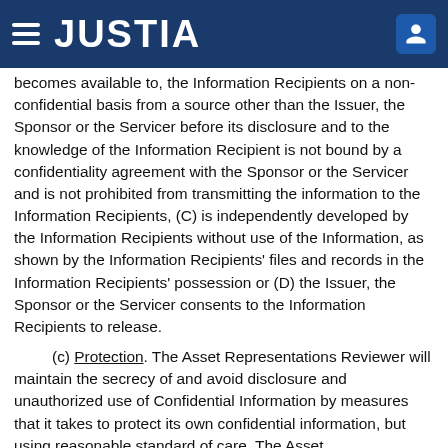JUSTIA
becomes available to the Information Recipients on a non-confidential basis from a source other than the Issuer, the Sponsor or the Servicer before its disclosure hereunder and to the knowledge of the Information Recipient is not bound by a confidentiality agreement with the Sponsor or the Servicer and is not prohibited from transmitting the information to the Information Recipients, (C) is independently developed by the Information Recipients without use of the Information, as shown by the Information Recipients' files and records maintained prior to the Information Recipients' possession or (D) the Issuer, the Sponsor or the Servicer consents to the Information Recipients to release.
(c) Protection. The Asset Representations Reviewer will maintain the secrecy of and avoid disclosure and unauthorized use of Confidential Information by measures that it takes to protect its own confidential information, but in any event using reasonable of care. The Asset Representations Reviewer acknowledges that its obligations hereunder are subject to the additional requirements in Section 4.9.
(d) Disclosure. If the Asset Representations Reviewer is required by a court order issued by an administrative, governmental, regulatory or similar authority to disclose Confidential Information, it may disclose the Confidential Information to the extent required for such disclosure. the Asset Representations Reviewer, if permitted